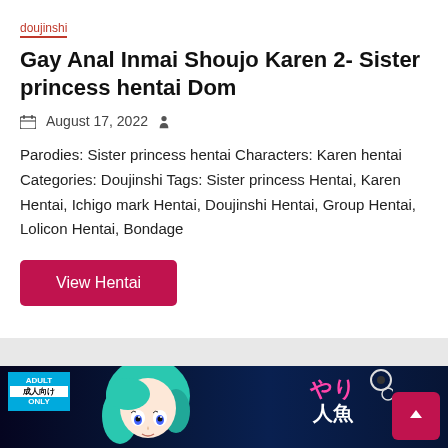doujinshi
Gay Anal Inmai Shoujo Karen 2- Sister princess hentai Dom
August 17, 2022
Parodies: Sister princess hentai Characters: Karen hentai Categories: Doujinshi Tags: Sister princess Hentai, Karen Hentai, Ichigo mark Hentai, Doujinshi Hentai, Group Hentai, Lolicon Hentai, Bondage
View Hentai
[Figure (illustration): Anime cover image with adult content badge and Japanese text]